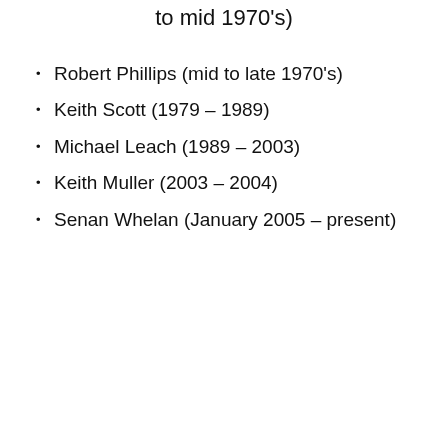to mid 1970's)
Robert Phillips (mid to late 1970's)
Keith Scott (1979 – 1989)
Michael Leach (1989 – 2003)
Keith Muller (2003 – 2004)
Senan Whelan (January 2005 – present)